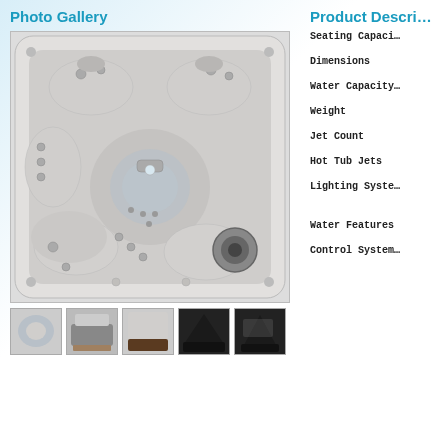Photo Gallery
[Figure (photo): Top-down aerial view of a hot tub/spa with multiple seats and jets, in light grey/white finish]
[Figure (photo): Thumbnail 1: close-up interior of hot tub]
[Figure (photo): Thumbnail 2: side view of hot tub showing cabinet]
[Figure (photo): Thumbnail 3: front view of hot tub]
[Figure (photo): Thumbnail 4: dark cabinet side view]
[Figure (photo): Thumbnail 5: angled dark cabinet view]
Product Descri...
Seating Capaci...
Dimensions
Water Capacity...
Weight
Jet Count
Hot Tub Jets
Lighting Syste...
Water Features
Control System...